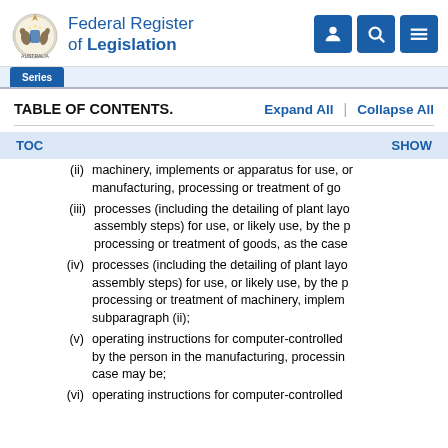Federal Register of Legislation
TABLE OF CONTENTS.   Expand All  |  Collapse All
TOC   SHOW
(ii) machinery, implements or apparatus for use, or manufacturing, processing or treatment of go
(iii) processes (including the detailing of plant layo assembly steps) for use, or likely use, by the processing or treatment of goods, as the case
(iv) processes (including the detailing of plant layo assembly steps) for use, or likely use, by the processing or treatment of machinery, implem subparagraph (ii);
(v) operating instructions for computer-controlled by the person in the manufacturing, processin case may be;
(vi) operating instructions for computer-controlled